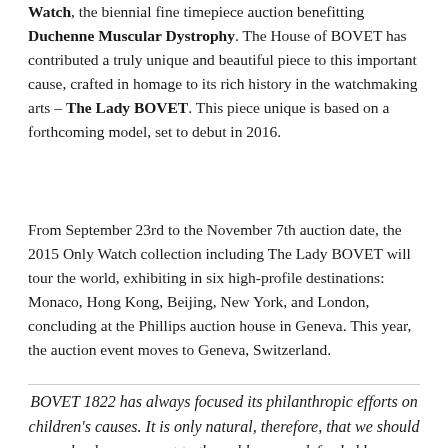Watch, the biennial fine timepiece auction benefitting Duchenne Muscular Dystrophy. The House of BOVET has contributed a truly unique and beautiful piece to this important cause, crafted in homage to its rich history in the watchmaking arts – The Lady BOVET. This piece unique is based on a forthcoming model, set to debut in 2016.
From September 23rd to the November 7th auction date, the 2015 Only Watch collection including The Lady BOVET will tour the world, exhibiting in six high-profile destinations: Monaco, Hong Kong, Beijing, New York, and London, concluding at the Phillips auction house in Geneva. This year, the auction event moves to Geneva, Switzerland.
BOVET 1822 has always focused its philanthropic efforts on children's causes. It is only natural, therefore, that we should lend our support to the noble cause defended by